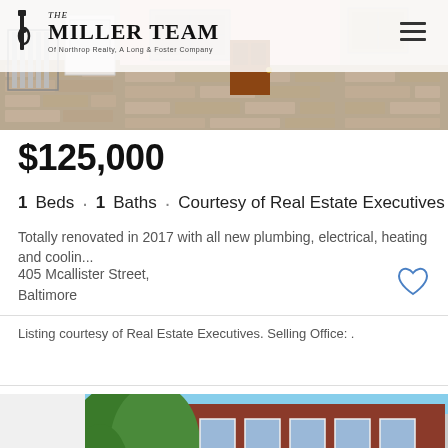The Miller Team — Of Northrop Realty, A Long & Foster Company
[Figure (photo): Exterior street view of row houses with stone facade, wrought iron gate, and red/brown brick]
$125,000
1 Beds · 1 Baths · Courtesy of Real Estate Executives
Totally renovated in 2017 with all new plumbing, electrical, heating and coolin...
405 Mcallister Street,
Baltimore
Listing courtesy of Real Estate Executives. Selling Office: .
[Figure (photo): Exterior photo of red brick row houses with ivy and large windows]